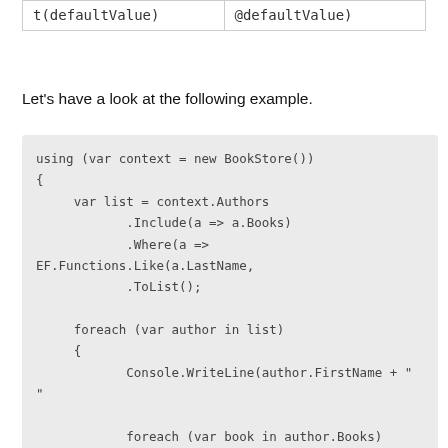| t(defaultValue) | @defaultValue) |
| --- | --- |
Let's have a look at the following example.
using (var context = new BookStore())
{
    var list = context.Authors
            .Include(a => a.Books)
            .Where(a => EF.Functions.Like(a.LastName,
            .ToList();

    foreach (var author in list)
    {
            Console.WriteLine(author.FirstName + " "

            foreach (var book in author.Books)
            {
                Console.WriteLine("\t" + book.Title);
            }
    }
}